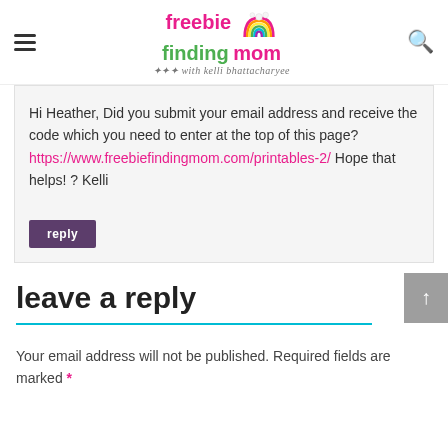freebie finding mom with kelli bhattacharyee
Hi Heather, Did you submit your email address and receive the code which you need to enter at the top of this page? https://www.freebiefindingmom.com/printables-2/ Hope that helps! ? Kelli
reply
leave a reply
Your email address will not be published. Required fields are marked *